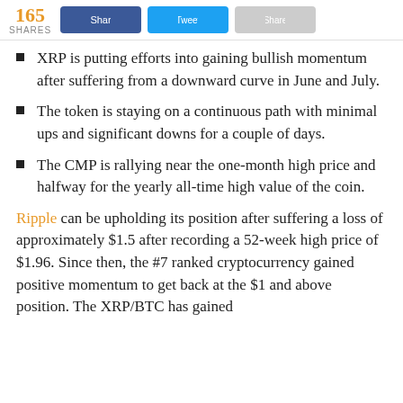165 SHARES [Facebook share button] [Twitter share button] [Other share button]
XRP is putting efforts into gaining bullish momentum after suffering from a downward curve in June and July.
The token is staying on a continuous path with minimal ups and significant downs for a couple of days.
The CMP is rallying near the one-month high price and halfway for the yearly all-time high value of the coin.
Ripple can be upholding its position after suffering a loss of approximately $1.5 after recording a 52-week high price of $1.96. Since then, the #7 ranked cryptocurrency gained positive momentum to get back at the $1 and above position. The XRP/BTC has gained